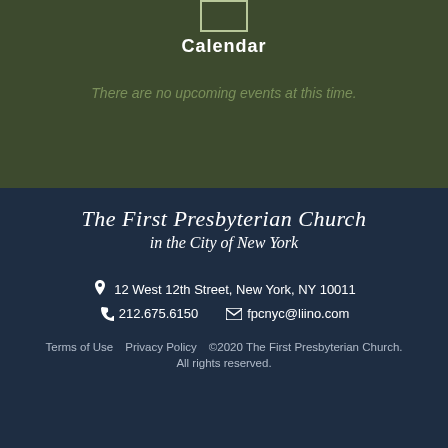Calendar
There are no upcoming events at this time.
[Figure (logo): The First Presbyterian Church in the City of New York script logo]
12 West 12th Street, New York, NY 10011
212.675.6150  fpcnyc@liino.com
Terms of Use  Privacy Policy  ©2020 The First Presbyterian Church. All rights reserved.